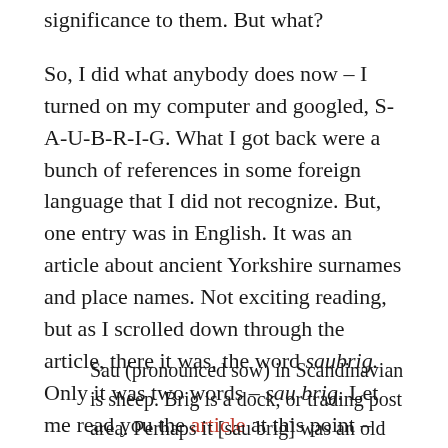significance to them. But what?
So, I did what anybody does now – I turned on my computer and googled, S-A-U-B-R-I-G. What I got back were a bunch of references in some foreign language that I did not recognize. But, one entry was in English. It was an article about ancient Yorkshire surnames and place names. Not exciting reading, but as I scrolled down through the article, there it was, the word saubrig. Only it was two words – sau brig. Let me read you the article at this point –
Sau (pronounced sow) in Scandinavian is sheep. Brig is a dock, or trading post area. Perhaps it [sau brig] was an old way of describing a 'sheeptown's dock' or, gathering point – the